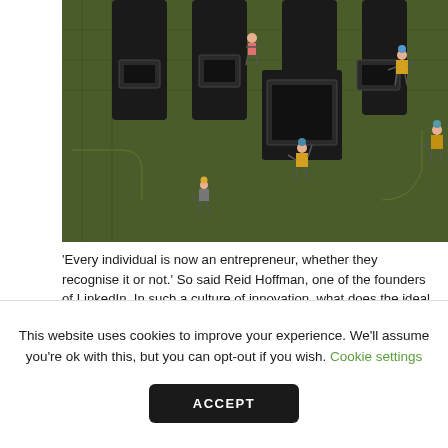[Figure (photo): Photo of miniature figurines of workers standing on USB connectors plugged into a circuit board]
'Every individual is now an entrepreneur, whether they recognise it or not.' So said Reid Hoffman, one of the founders of LinkedIn. In such a culture of innovation, what does the ideal legal department and in-house lawyer look like? GC caught up with Mike Callahan, LinkedIn's GC, to discuss the risks and rewards of working at the law's new frontiers and how to find lawyers who are up to that challenge.
This website uses cookies to improve your experience. We'll assume you're ok with this, but you can opt-out if you wish. Cookie settings ACCEPT